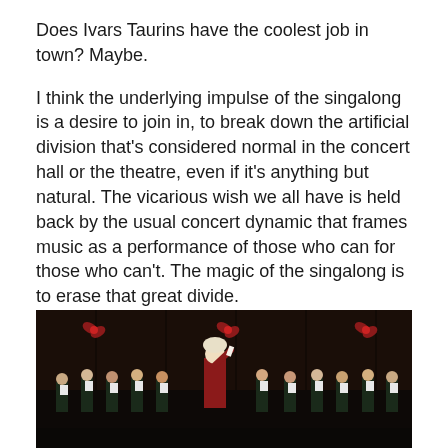Does Ivars Taurins have the coolest job in town? Maybe.
I think the underlying impulse of the singalong is a desire to join in, to break down the artificial division that’s considered normal in the concert hall or the theatre, even if it’s anything but natural. The vicarious wish we all have is held back by the usual concert dynamic that frames music as a performance of those who can for those who can’t. The magic of the singalong is to erase that great divide.
We can and we do.
[Figure (photo): A conductor in period costume (white wig, red and gold coat) performs on stage with a choir. Red bows are visible on dark wood paneling in the background. Choir members hold sheet music and wear dark robes.]